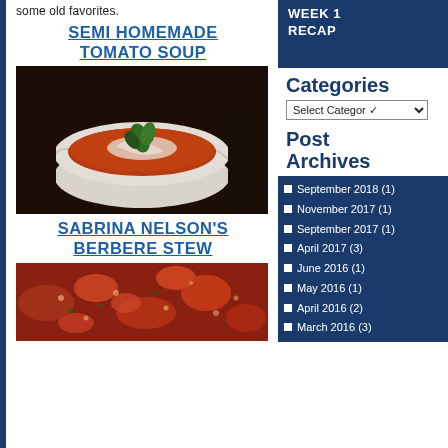some old favorites.
SEMI HOMEMADE TOMATO SOUP
[Figure (photo): Bowl of tomato soup with cream swirl and fresh basil garnish on dark background]
SABRINA NELSON'S BERBERE STEW
[Figure (photo): Close-up of berbere stew with red tomato-based sauce and lentils in a pan]
WEEK 1 RECAP
Categories
Post Archives
September 2018 (1)
November 2017 (1)
September 2017 (1)
April 2017 (3)
June 2016 (1)
May 2016 (1)
April 2016 (2)
March 2016 (3)